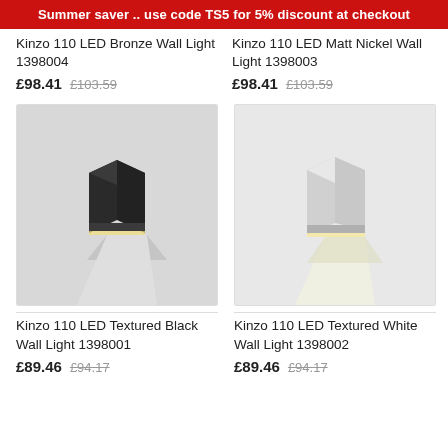Summer saver .. use code TS5 for 5% discount at checkout
Kinzo 110 LED Bronze Wall Light 1398004
£98.41  £103.59
Kinzo 110 LED Matt Nickel Wall Light 1398003
£98.41  £103.59
[Figure (photo): Kinzo 110 LED Textured Black Wall Light mounted on grey wall, emitting downward beam of light]
[Figure (photo): Kinzo 110 LED Textured White Wall Light mounted on white wall, emitting downward beam of light]
Kinzo 110 LED Textured Black Wall Light 1398001
£89.46  £94.17
Kinzo 110 LED Textured White Wall Light 1398002
£89.46  £94.17